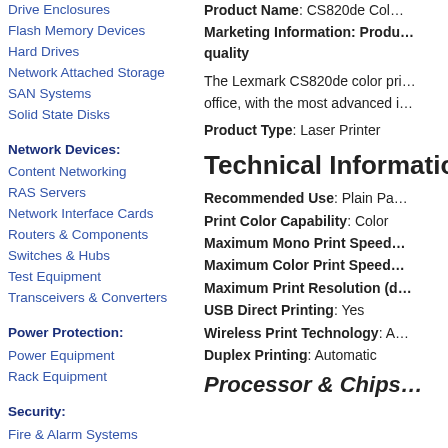Drive Enclosures
Flash Memory Devices
Hard Drives
Network Attached Storage
SAN Systems
Solid State Disks
Network Devices:
Content Networking
RAS Servers
Network Interface Cards
Routers & Components
Switches & Hubs
Test Equipment
Transceivers & Converters
Power Protection:
Power Equipment
Rack Equipment
Security:
Fire & Alarm Systems
Network Security
Physical Access Control
Video Surveillance
Product Name: CS820de Co…
Marketing Information: Produ… quality
The Lexmark CS820de color pri… office, with the most advanced i…
Product Type: Laser Printer
Technical Informatio…
Recommended Use: Plain Pa…
Print Color Capability: Color
Maximum Mono Print Speed…
Maximum Color Print Speed…
Maximum Print Resolution (d…
USB Direct Printing: Yes
Wireless Print Technology: A…
Duplex Printing: Automatic
Processor & Chips…